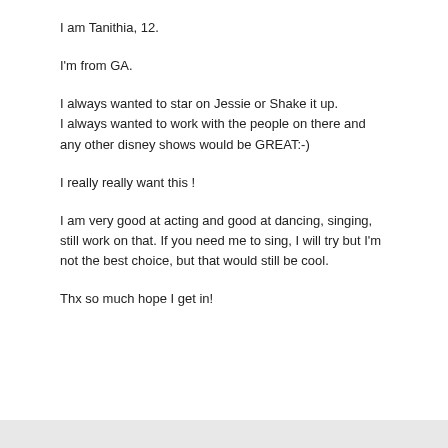I am Tanithia, 12.
I'm from GA.
I always wanted to star on Jessie or Shake it up. I always wanted to work with the people on there and any other disney shows would be GREAT:-)
I really really want this !
I am very good at acting and good at dancing, singing, still work on that. If you need me to sing, I will try but I'm not the best choice, but that would still be cool.
Thx so much hope I get in!